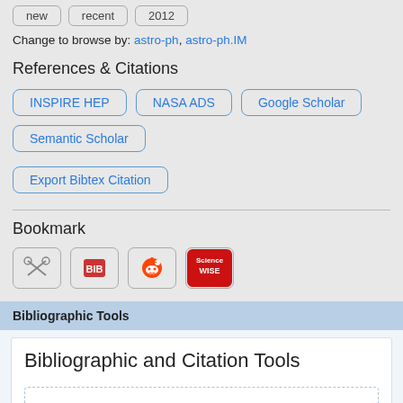new  recent  2012
Change to browse by: astro-ph, astro-ph.IM
References & Citations
INSPIRE HEP
NASA ADS
Google Scholar
Semantic Scholar
Export Bibtex Citation
Bookmark
[Figure (other): Bookmark icons: tools/scissors icon, BibSonomy icon, Reddit icon, ScienceWISE icon]
Bibliographic Tools
Bibliographic and Citation Tools
Bibliographic Explorer (What is the Explorer?)
Litmaps (What is Litmaps?)